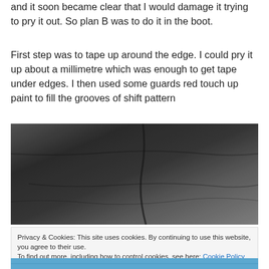and it soon became clear that I would damage it trying to pry it out. So plan B was to do it in the boot.
First step was to tape up around the edge. I could pry it up about a millimetre which was enough to get tape under edges. I then used some guards red touch up paint to fill the grooves of shift pattern
[Figure (photo): Close-up photo of dark leather/material folded and creased, showing the texture and folds of a boot or similar leather item]
Privacy & Cookies: This site uses cookies. By continuing to use this website, you agree to their use.
To find out more, including how to control cookies, see here: Cookie Policy
[Figure (photo): Partial view of another photo at the bottom, showing blue color/fabric]